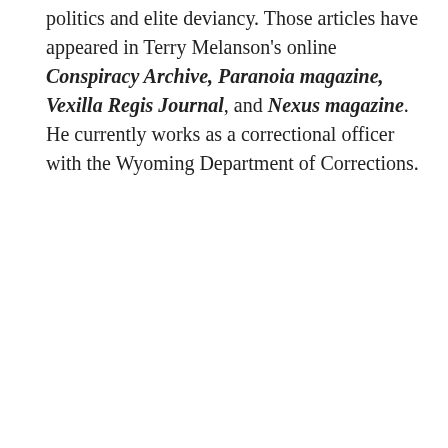politics and elite deviancy. Those articles have appeared in Terry Melanson's online Conspiracy Archive, Paranoia magazine, Vexilla Regis Journal, and Nexus magazine. He currently works as a correctional officer with the Wyoming Department of Corrections.